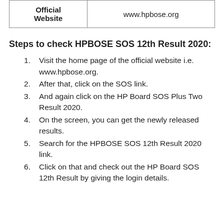| Official Website | www.hpbose.org |
Steps to check HPBOSE SOS 12th Result 2020:
Visit the home page of the official website i.e. www.hpbose.org.
After that, click on the SOS link.
And again click on the HP Board SOS Plus Two Result 2020.
On the screen, you can get the newly released results.
Search for the HPBOSE SOS 12th Result 2020 link.
Click on that and check out the HP Board SOS 12th Result by giving the login details.